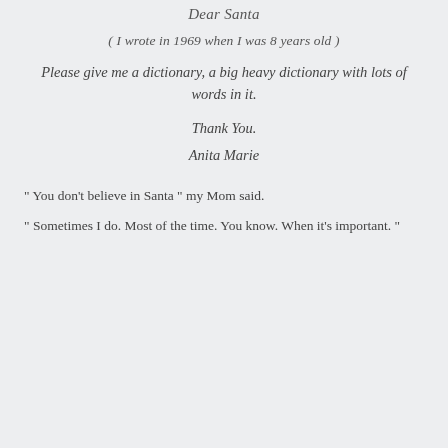Dear Santa
( I wrote  in 1969 when I was 8 years old )
Please give me a dictionary, a big heavy dictionary with lots of words in it.
Thank You.
Anita Marie
" You don't believe in Santa " my Mom said.
" Sometimes I do. Most of the time. You know. When it's important. "